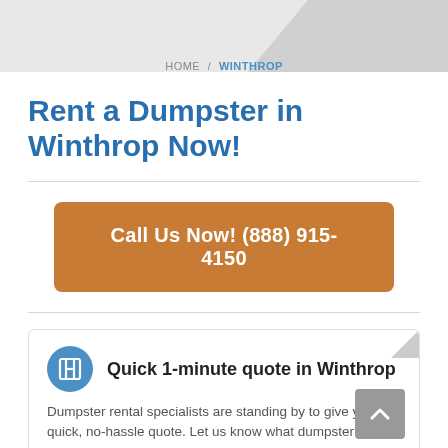HOME / WINTHROP
Rent a Dumpster in Winthrop Now!
Call Us Now! (888) 915-4150
Quick 1-minute quote in Winthrop
Dumpster rental specialists are standing by to give you a quick, no-hassle quote. Let us know what dumpster size